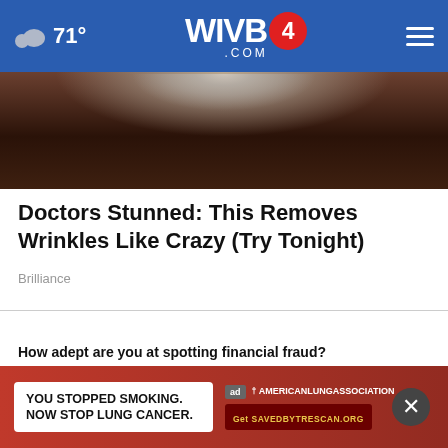71° WIVB4.COM
[Figure (photo): Close-up photo of a dark chocolate brownie or food item with salt crystals on top, against a light background]
Doctors Stunned: This Removes Wrinkles Like Crazy (Try Tonight)
Brilliance
WHAT DO YOU THINK?
How adept are you at spotting financial fraud?
Very adept
Somewhat adept
No
Other / No opinion
[Figure (screenshot): Ad banner: YOU STOPPED SMOKING. NOW STOP LUNG CANCER. American Lung Association. Get SAVEDBYTECAN.ORG]